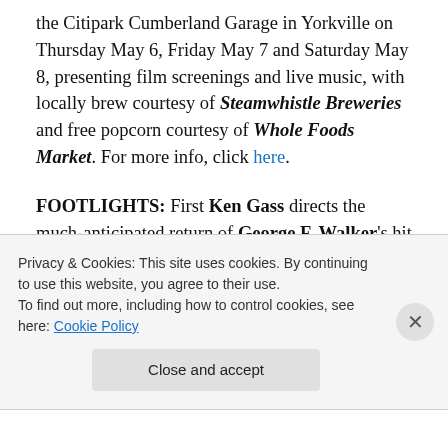the Citipark Cumberland Garage in Yorkville on Thursday May 6, Friday May 7 and Saturday May 8, presenting film screenings and live music, with locally brew courtesy of Steamwhistle Breweries and free popcorn courtesy of Whole Foods Market. For more info, click here.
FOOTLIGHTS: First Ken Gass directs the much-anticipated return of George F. Walker's hit comedy Featuring Loretta, opening May 1 at the Factory Theatre. Then the
Privacy & Cookies: This site uses cookies. By continuing to use this website, you agree to their use.
To find out more, including how to control cookies, see here: Cookie Policy